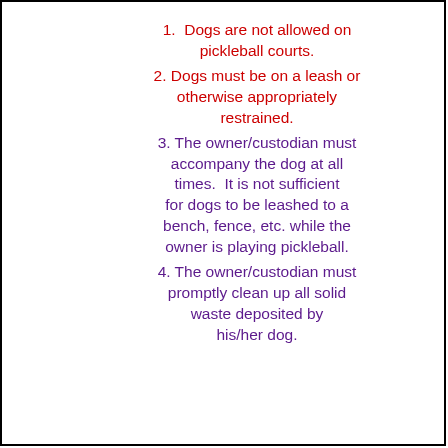1. Dogs are not allowed on pickleball courts.
2. Dogs must be on a leash or otherwise appropriately restrained.
3. The owner/custodian must accompany the dog at all times. It is not sufficient for dogs to be leashed to a bench, fence, etc. while the owner is playing pickleball.
4. The owner/custodian must promptly clean up all solid waste deposited by his/her dog.